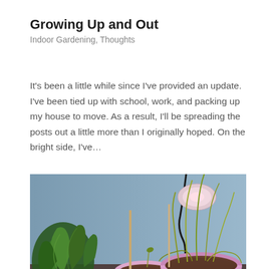Growing Up and Out
Indoor Gardening, Thoughts
It's been a little while since I've provided an update. I've been tied up with school, work, and packing up my house to move. As a result, I'll be spreading the posts out a little more than I originally hoped. On the bright side, I've...
[Figure (photo): Indoor garden photo showing green leafy plants on the left, pink/purple planting bowls and pots in the center and right with grass-like seedlings growing, under grow lights with a cord visible, blue background wall]